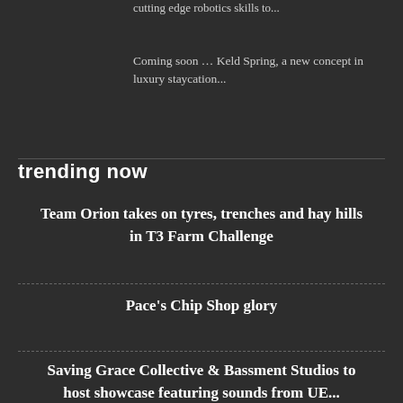cutting edge robotics skills to...
Coming soon … Keld Spring, a new concept in luxury staycation...
trending now
Team Orion takes on tyres, trenches and hay hills in T3 Farm Challenge
Pace's Chip Shop glory
Saving Grace Collective & Bassment Studios to host showcase featuring sounds from UE...